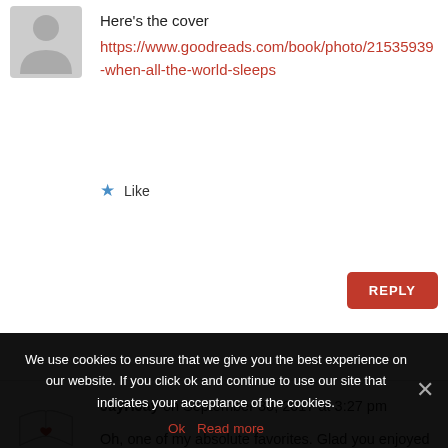[Figure (illustration): Gray silhouette avatar placeholder for anonymous commenter]
Here's the cover
https://www.goodreads.com/book/photo/21535939-when-all-the-world-sleeps
★ Like
REPLY
[Figure (illustration): JayHJay avatar: open book with a red heart]
JayHJay on September 30, 2017 at 3:27 pm
Oh, one of my absolute favorites. Glad you enjoyed it — and yes, definitely emotional wringer! Here is a link to our review/cover:
https://joyfullyjay.com/2017/03/throwback-thursday-audiobook-review-when-all-the-world-sleeps-by-lisa-
We use cookies to ensure that we give you the best experience on our website. If you click ok and continue to use our site that indicates your acceptance of the cookies.
Ok  Read more